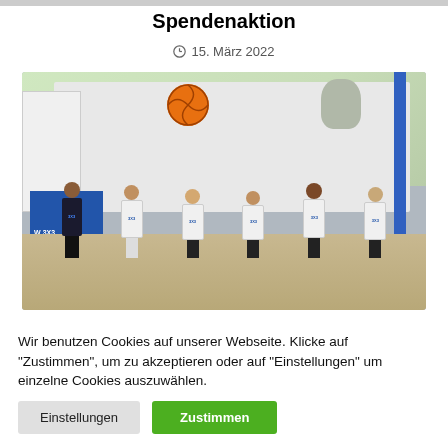Spendenaktion
15. März 2022
[Figure (photo): Group photo of six young men in white 3x3 basketball jerseys standing in front of a truck at an outdoor basketball event. An orange basketball logo is visible on the truck.]
Wir benutzen Cookies auf unserer Webseite. Klicke auf "Zustimmen", um zu akzeptieren oder auf "Einstellungen" um einzelne Cookies auszuwählen.
Einstellungen
Zustimmen